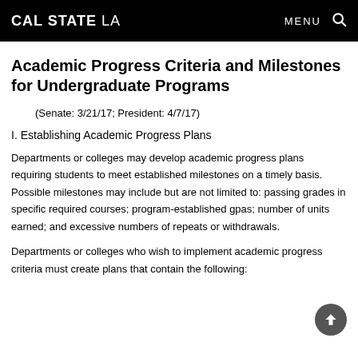CAL STATE LA | MENU
Academic Progress Criteria and Milestones for Undergraduate Programs
(Senate: 3/21/17; President: 4/7/17)
I. Establishing Academic Progress Plans
Departments or colleges may develop academic progress plans requiring students to meet established milestones on a timely basis. Possible milestones may include but are not limited to: passing grades in specific required courses; program-established gpas; number of units earned; and excessive numbers of repeats or withdrawals.
Departments or colleges who wish to implement academic progress criteria must create plans that contain the following: